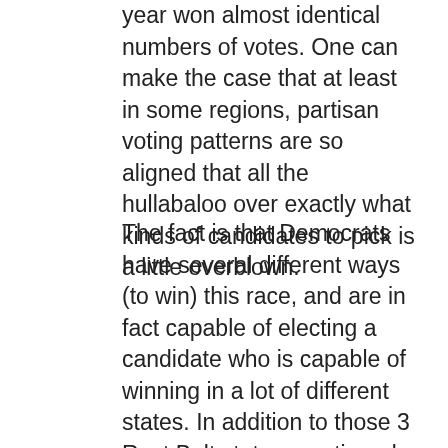year won almost identical numbers of votes. One can make the case that at least in some regions, partisan voting patterns are so aligned that all the hullabaloo over exactly what kinds of candidates to pick is a little overblown.
The fact is that Democrats have several different ways (to win) this race, and are in fact capable of electing a candidate who is capable of winning in a lot of different states. In addition to those 3 Rust Belt states mentioned above, Democrats are right on the cusp of winning NC, GA, FL, and AZ. Texas might even be in play depending on who the nominee turns out to be. If Sherrod Brown were on the ticket, maybe Ohio would come back into play. If Bernie is the nominee, maybe we lose some higher income older suburbanites who are scared of the word 'socialist', but we make that up with a big surge of young voters and/or people of color, combined with the Jill Stein voters who voted for Bernie.
As long as we have the right candidate, Dem...